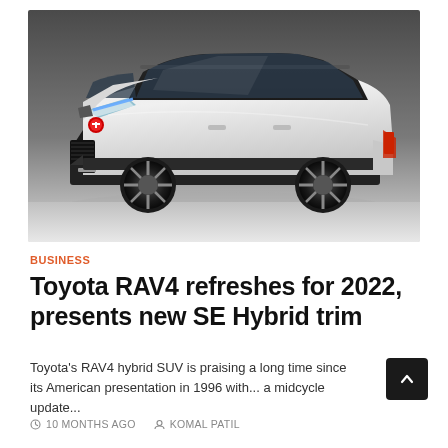[Figure (photo): White Toyota RAV4 SUV shown in a 3/4 front view against a dark gray studio background. The vehicle features black trim, dark alloy wheels, and LED headlights.]
BUSINESS
Toyota RAV4 refreshes for 2022, presents new SE Hybrid trim
Toyota's RAV4 hybrid SUV is praising a long time since its American presentation in 1996 with... a midcycle update...
10 MONTHS AGO   KOMAL PATIL